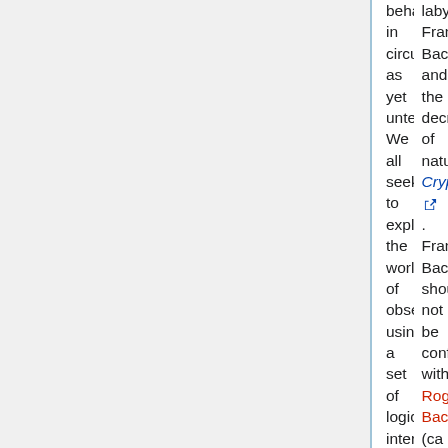behaviour in circumstances as yet untested. We all seek to explain the world of observations using a set of logically interacting components, and we all simplify by recognising that some observations are important while others can be reasonably neglected
labyrinth: Francis Bacon and the decryption of nature Cryptologia. Francis Bacon should not be confused with Roger Bacon (ca 1214-1294), a Franciscan friar who also has claims to be a pioneer of observation and experiment, and who was imprisoned when his work challenged the dogma of the